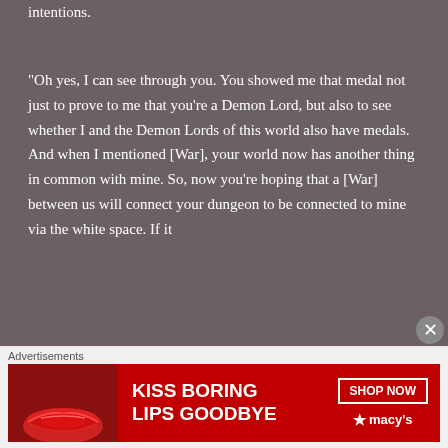intentions.
“Oh yes, I can see through you. You showed me that medal not just to prove to me that you’re a Demon Lord, but also to see whether I and the Demon Lords of this world also have medals. And when I mentioned [War], your world now has another thing in common with mine. So, now you’re hoping that a [War] between us will connect your dungeon to be connected to mine via the white space. If it
Advertisements
[Figure (photo): Macy's advertisement banner: red background with woman's face showing lips, text 'KISS BORING LIPS GOODBYE', 'SHOP NOW' button, and Macy's star logo]